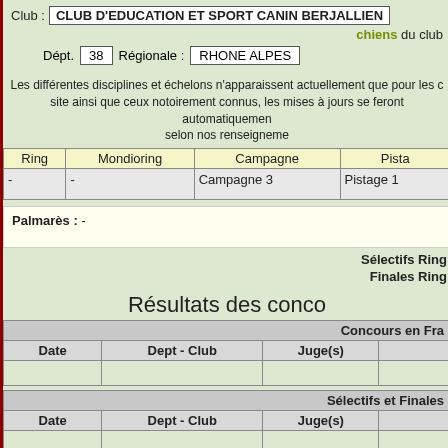Club : CLUB D'EDUCATION ET SPORT CANIN BERJALLIEN
chiens du club
Dépt. 38  Régionale : RHONE ALPES
Les différentes disciplines et échelons n'apparaissent actuellement que pour les chiens du site ainsi que ceux notoirement connus, les mises à jours se feront automatiquement selon nos renseignements.
| Ring | Mondioring | Campagne | Pistage |
| --- | --- | --- | --- |
| - | - | Campagne 3 | Pistage 1 |
Palmarès : -
Sélectifs Ring
Finales Ring
Résultats des concours
| Concours en France | Date | Dept - Club | Juge(s) |
| --- | --- | --- | --- |
|  |
| Sélectifs et Finales | Date | Dept - Club | Juge(s) |
| --- | --- | --- | --- |
|  |
Résultats d...